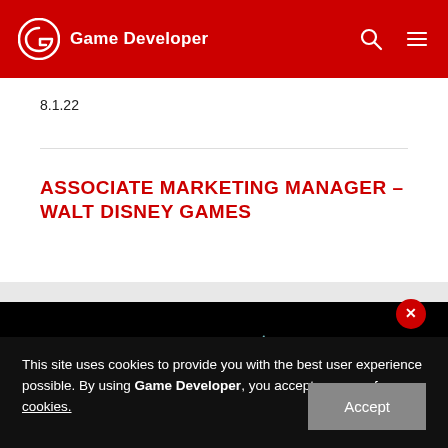Game Developer
8.1.22
ASSOCIATE MARKETING MANAGER – WALT DISNEY GAMES
[Figure (photo): Dark background image with a light blue curved shape, partially visible, on a black background]
This site uses cookies to provide you with the best user experience possible. By using Game Developer, you accept our use of cookies.